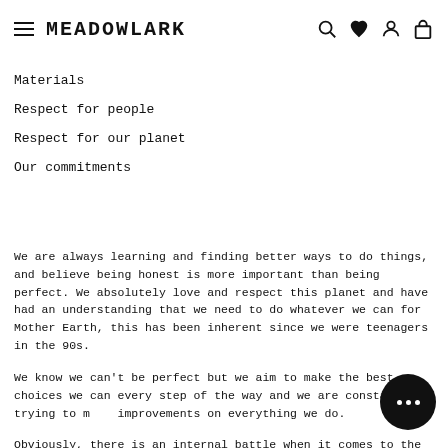MEADOWLARK
Materials
Respect for people
Respect for our planet
Our commitments
We are always learning and finding better ways to do things, and believe being honest is more important than being perfect. We absolutely love and respect this planet and have had an understanding that we need to do whatever we can for Mother Earth, this has been inherent since we were teenagers in the 90s.
We know we can't be perfect but we aim to make the best choices we can every step of the way and we are constantly trying to make improvements on everything we do.
Obviously, there is an internal battle when it comes to the fact that our materials are sourced from the earth so we do our best to